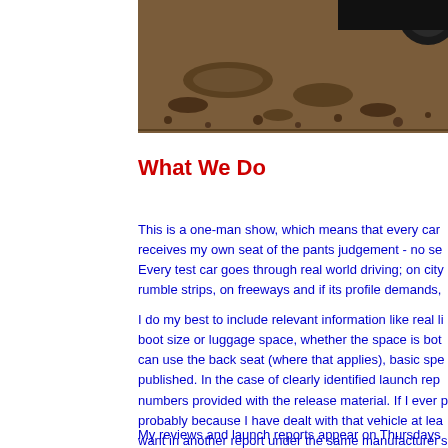[Figure (photo): Car on rocky/dirt terrain, showing undercarriage area with rocks and gravel, partial view of car wheel]
What We Do
This is a one-man show, which means that every car receives my own seat of the pants judgement - no se... Every test car goes through real world driving; on city rumble strips, on freeways and if its profile demands,
I do my best to include relevant information like real li... boot size or luggage space, whether the space is bot... can use the back seat (where that applies), basic spe... published. In the case of clearly identified launch rep... numbers provided with the release material. If I ever p... probably because I have dealt with that vehicle at lea... want in another report under the same manufacturer's
My reviews and launch reports appear on Thursdays